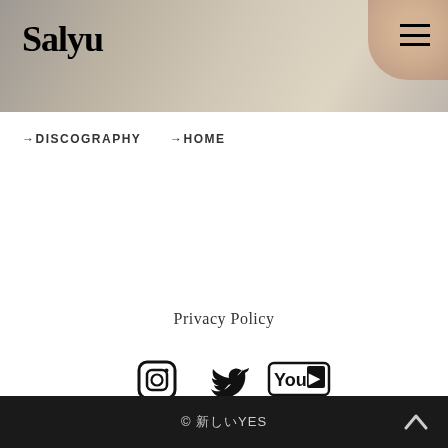Salyu
→DISCOGRAPHY
→HOME
Privacy Policy
[Figure (other): Social media icons: Instagram, Twitter, YouTube]
© 新しいYES